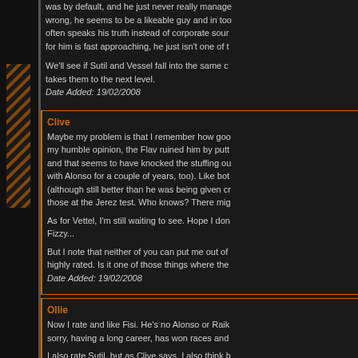was by default, and he just never really managed... wrong, he seems to be a likeable guy and in too... often speaks his truth instead of corporate sour... for him is fast approaching, he just isn't one of t...
We'll see if Sutil and Vessel fall into the same c... takes them to the next level.
Date Added: 19/02/2008
Clive
Maybe my problem is that I remember how goo... my humble opinion, the Flav ruined him by putt... and that seems to have knocked the stuffing ou... with Alonso for a couple of years, too). Like bot... (although still better than he was being given cr... those at the Jerez test. Who knows? There mig...
As for Vettel, I'm still waiting to see. Hope I don... Fizzy...
But I note that neither of you can put me out of... highly rated. Is it one of those things where the...
Date Added: 19/02/2008
Ollie
Now I rate and like Fisi. He's no Alonso or Raik... sorry, having a long career, has won races and...
I also rate Sutil, but as Clive says, I also think h...